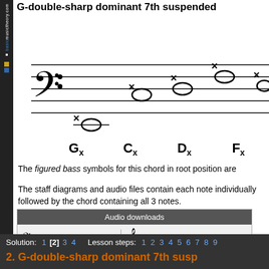G-double-sharp dominant 7th suspended
[Figure (music-notation): Bass clef staff showing notes Gx, Cx, Dx, Fx with double-sharp symbols on ledger lines]
Gx   Cx   Dx   Fx
The figured bass symbols for this chord in root position are
The staff diagrams and audio files contain each note individually followed by the chord containing all 3 notes.
| Audio downloads |
| --- |
| Bass Clef: Midi MP3 | Treble Clef: Midi MP3 |
Solution: 1 [2] 3 4   Lesson steps: 1 2 3 4 5 6 7 8 9
2. G-double-sharp dominant 7th susp